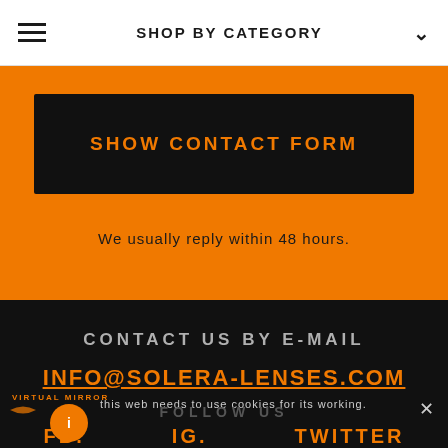SHOP BY CATEGORY
SHOW CONTACT FORM
We usually reply within 48 hours.
CONTACT US BY E-MAIL
INFO@SOLERA-LENSES.COM
this web needs to use cookies for its working.
VIRTUAL MIRROR
FOLLOW US
FB.  IG.  TWITTER